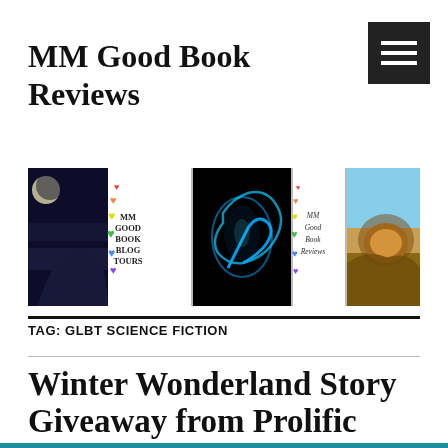MM Good Book Reviews
[Figure (illustration): Hamburger menu button icon, white lines on dark background, top right corner]
[Figure (illustration): Website banner collage with wolf/moon, MM Good Book Blog Tours logo with rainbow hearts, blue glowing dragon on black, MM Good Book Reviews logo with rainbow hearts, lion on rocky outcrop]
TAG: GLBT SCIENCE FICTION
Winter Wonderland Story Giveaway from Prolific Works!